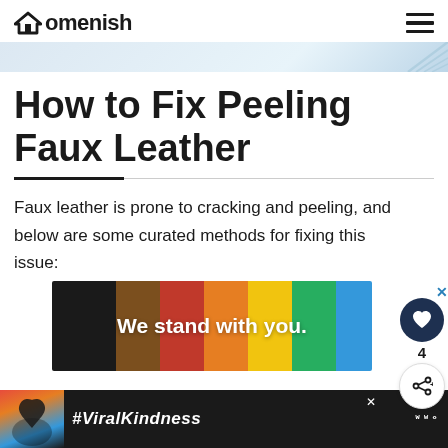Homenish
How to Fix Peeling Faux Leather
Faux leather is prone to cracking and peeling, and below are some curated methods for fixing this issue:
[Figure (other): Colorful rainbow pride advertisement banner reading 'We stand with you.' with black, brown, red, orange, yellow, green, blue, and purple stripes]
[Figure (other): Bottom advertisement banner with black background showing hands forming a heart shape and text '#ViralKindness']